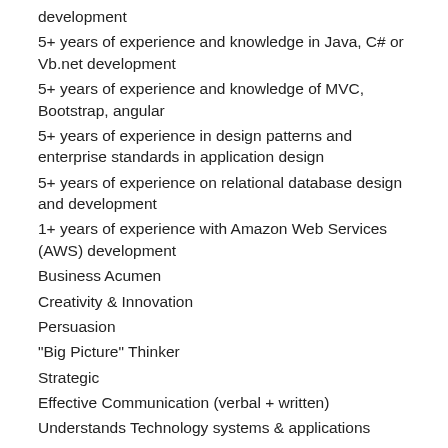development
5+ years of experience and knowledge in Java, C# or Vb.net development
5+ years of experience and knowledge of MVC, Bootstrap, angular
5+ years of experience in design patterns and enterprise standards in application design
5+ years of experience on relational database design and development
1+ years of experience with Amazon Web Services (AWS) development
Business Acumen
Creativity & Innovation
Persuasion
"Big Picture" Thinker
Strategic
Effective Communication (verbal + written)
Understands Technology systems & applications
Vendor Management
Negotiation
Exceptional at coding and on time delivery of quality components and or applications
Exceptional at management and institution of following